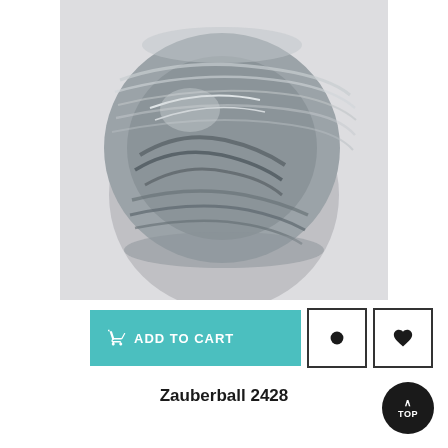[Figure (photo): A ball of grey/silver marled yarn on a light grey background. The yarn is wound into a round ball showing various shades of grey and white twisted together.]
ADD TO CART
Zauberball 2428